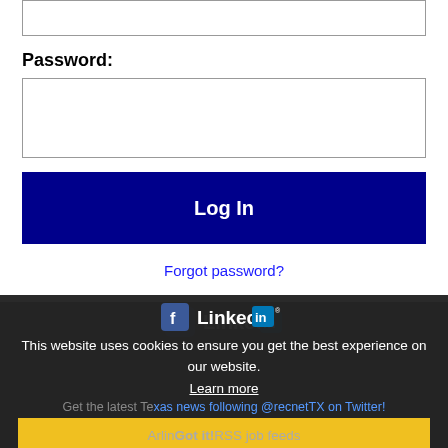Password:
Log In
Forgot password?
[Figure (screenshot): Cookie consent overlay with social icons (Facebook, LinkedIn), cookie notice text, Learn more link, Twitter follow text, and Got it! button]
This website uses cookies to ensure you get the best experience on our website.
Learn more
Get the latest Texas news following @recnetTX on Twitter!
Got it!